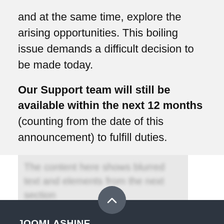and at the same time, explore the arising opportunities. This boiling issue demands a difficult decision to be made today.
Our Support team will still be available within the next 12 months (counting from the date of this announcement) to fulfill duties.
May our paths cross again in the future. Goodbye, until we see you again.
[Figure (screenshot): Blurred/obscured content section below main text]
JOOMLASHINE
Giving Back